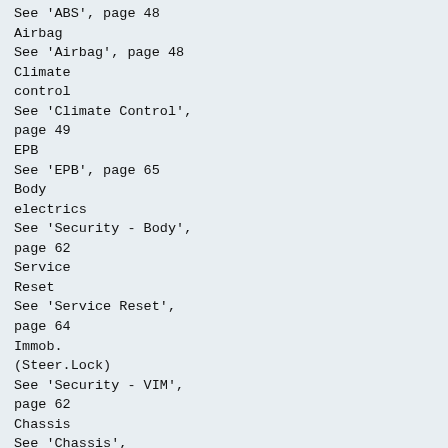See 'ABS', page 48
Airbag
See 'Airbag', page 48
Climate
control
See 'Climate Control', page 49
EPB
See 'EPB', page 65
Body
electrics
See 'Security - Body', page 62
Service
Reset
See 'Service Reset', page 64
Immob.
(Steer.Lock)
See 'Security - VIM', page 62
Chassis
See 'Chassis', page 53
Fuel-Burning
Heater
See 'Fuel-Burning
Heater', page 66
HSCAN
Clear DTCs
See 'Global DTCs', page 67
MSCAN